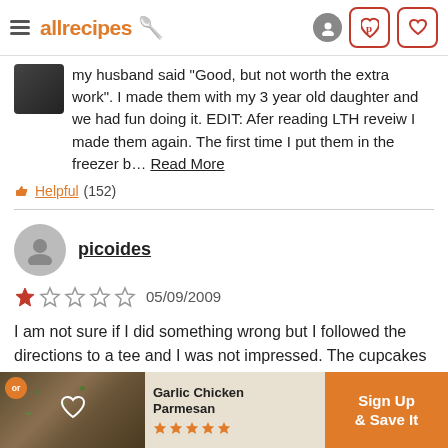allrecipes
my husband said "Good, but not worth the extra work". I made them with my 3 year old daughter and we had fun doing it. EDIT: Afer reading LTH reveiw I made them again. The first time I put them in the freezer b… Read More
Helpful (152)
picoides
1 star — 05/09/2009
I am not sure if I did something wrong but I followed the directions to a tee and I was not impressed. The cupcakes were...
[Figure (screenshot): Advertisement banner: Garlic Chicken Parmesan with Sign Up & Save It call to action]